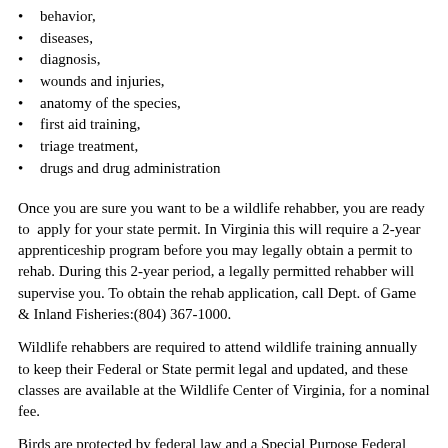behavior,
diseases,
diagnosis,
wounds and injuries,
anatomy of the species,
first aid training,
triage treatment,
drugs and drug administration
Once you are sure you want to be a wildlife rehabber, you are ready to apply for your state permit. In Virginia this will require a 2-year apprenticeship program before you may legally obtain a permit to rehab. During this 2-year period, a legally permitted rehabber will supervise you. To obtain the rehab application, call Dept. of Game & Inland Fisheries:(804) 367-1000.
Wildlife rehabbers are required to attend wildlife training annually to keep their Federal or State permit legal and updated, and these classes are available at the Wildlife Center of Virginia, for a nominal fee.
Birds are protected by federal law and a Special Purpose Federal permit is required to handle and rehab birds. Click to learn more about acquiring a Federal permit.